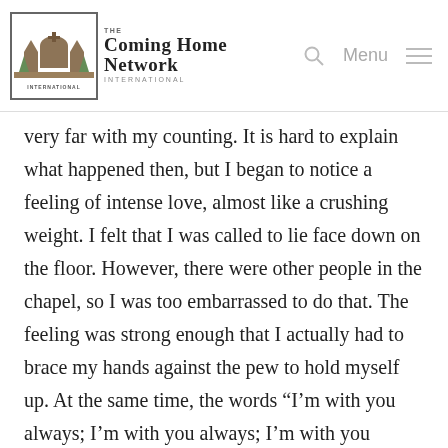The Coming Home Network International — Menu
very far with my counting. It is hard to explain what happened then, but I began to notice a feeling of intense love, almost like a crushing weight. I felt that I was called to lie face down on the floor. However, there were other people in the chapel, so I was too embarrassed to do that. The feeling was strong enough that I actually had to brace my hands against the pew to hold myself up. At the same time, the words “I’m with you always; I’m with you always; I’m with you always,” echoed over and over in my head very clearly. I also heard a heart beating in my ears. In my mind, I was remembering the